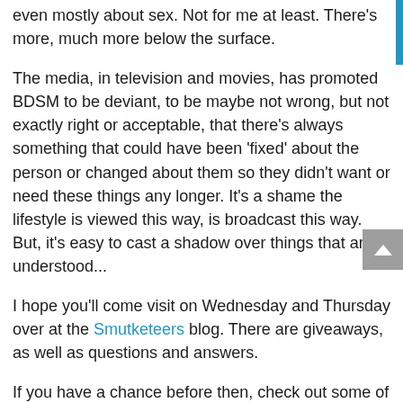even mostly about sex. Not for me at least. There's more, much more below the surface.
The media, in television and movies, has promoted BDSM to be deviant, to be maybe not wrong, but not exactly right or acceptable, that there's always something that could have been 'fixed' about the person or changed about them so they didn't want or need these things any longer. It's a shame the lifestyle is viewed this way, is broadcast this way. But, it's easy to cast a shadow over things that aren't understood...
I hope you'll come visit on Wednesday and Thursday over at the Smutketeers blog. There are giveaways, as well as questions and answers.
If you have a chance before then, check out some of the authors listed. You might have read them all or there maybe some new to you ones...